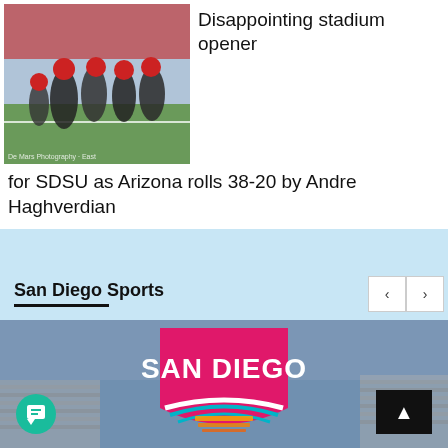[Figure (photo): Football players in red and dark uniforms on a field, crowd in background. Watermark reads 'De Mars Photography - East...']
Disappointing stadium opener for SDSU as Arizona rolls 38-20 by Andre Haghverdian
San Diego Sports
[Figure (photo): San Diego FC logo (pink/magenta shield with 'SAN DIEGO' text and swoosh design) overlaid on a stadium background at dusk/evening.]